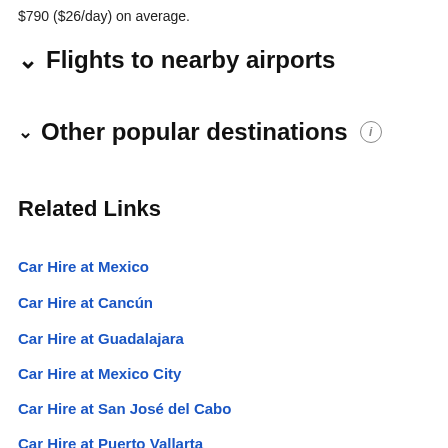$790 ($26/day) on average.
Flights to nearby airports
Other popular destinations
Related Links
Car Hire at Mexico
Car Hire at Cancún
Car Hire at Guadalajara
Car Hire at Mexico City
Car Hire at San José del Cabo
Car Hire at Puerto Vallarta